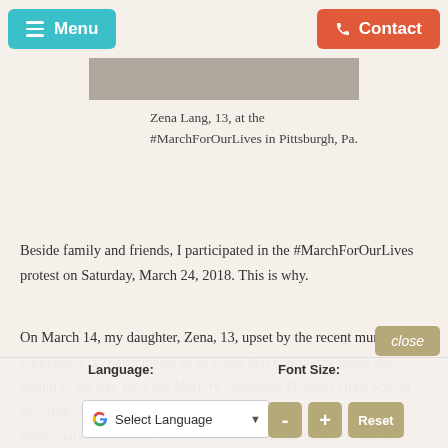Menu  Contact
[Figure (photo): Partial image of a person at a march/protest, cropped at top of page]
Zena Lang, 13, at the #MarchForOurLives in Pittsburgh, Pa.
Beside family and friends, I participated in the #MarchForOurLives protest on Saturday, March 24, 2018. This is why.
On March 14, my daughter, Zena, 13, upset by the recent murders in Parkland, Fla., participated in an event that was taking place one month to the day after the Marjory Stoneman Douglas High School shooting. This student-led demonstration, called #NationalWalkOutDay, was both a memorial to those killed and a protest, demanding laws... laws including banning assault weapons, requiring universal